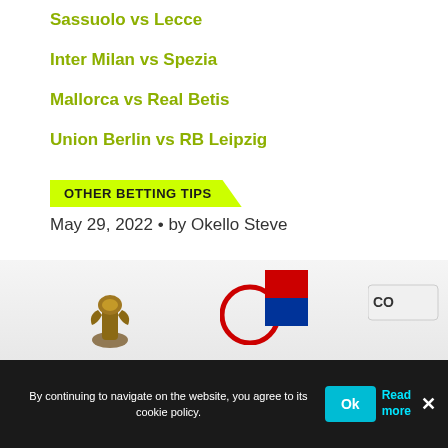Sassuolo vs Lecce
Inter Milan vs Spezia
Mallorca vs Real Betis
Union Berlin vs RB Leipzig
OTHER BETTING TIPS
May 29, 2022 • by Okello Steve
[Figure (photo): Partial sports/betting promotional image with logos and icons]
By continuing to navigate on the website, you agree to its cookie policy.